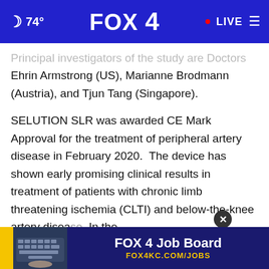74° FOX 4 · LIVE
Principal investigators of the study are Doctors Ehrin Armstrong (US), Marianne Brodmann (Austria), and Tjun Tang (Singapore).
SELUTION SLR was awarded CE Mark Approval for the treatment of peripheral artery disease in February 2020. The device has shown early promising clinical results in treatment of patients with chronic limb threatening ischemia (CLTI) and below-the-knee artery disease. In the PRES[...] ate brea[...] Dr
[Figure (screenshot): FOX 4 Job Board advertisement banner at bottom of page with keyboard image, yellow strip, and text 'FOX 4 Job Board FOX4KC.COM/JOBS']